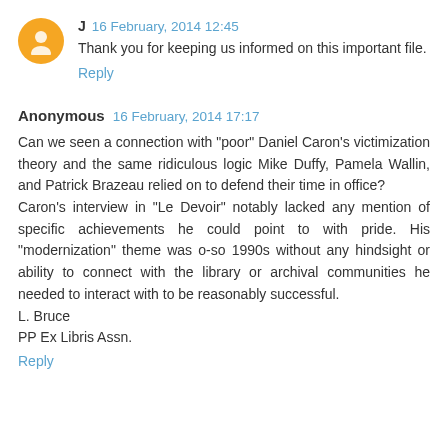J  16 February, 2014 12:45
Thank you for keeping us informed on this important file.
Reply
Anonymous  16 February, 2014 17:17
Can we seen a connection with "poor" Daniel Caron's victimization theory and the same ridiculous logic Mike Duffy, Pamela Wallin, and Patrick Brazeau relied on to defend their time in office?
Caron's interview in "Le Devoir" notably lacked any mention of specific achievements he could point to with pride. His "modernization" theme was o-so 1990s without any hindsight or ability to connect with the library or archival communities he needed to interact with to be reasonably successful.
L. Bruce
PP Ex Libris Assn.
Reply